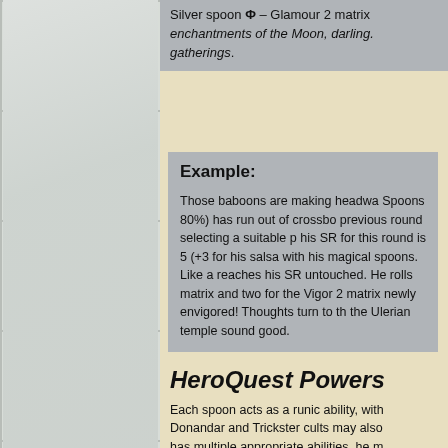Silver spoon Ф – Glamour 2 matrix enchantments of the Moon, darling. gatherings.
Example:
Those baboons are making headwa Spoons 80%) has run out of crossbo previous round selecting a suitable p his SR for this round is 5 (+3 for his salsa with his magical spoons. Like a reaches his SR untouched. He rolls matrix and two for the Vigor 2 matrix newly envigored! Thoughts turn to th the Ulerian temple sound good.
HeroQuest Powers
Each spoon acts as a runic ability, with Donandar and Trickster cults may also has multiple appropriate abilities, he m